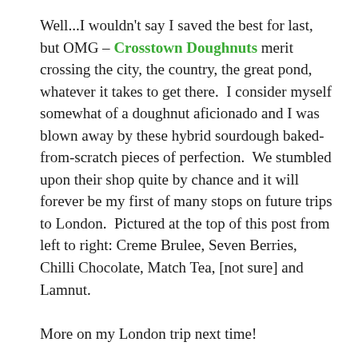Well...I wouldn't say I saved the best for last, but OMG – Crosstown Doughnuts merit crossing the city, the country, the great pond, whatever it takes to get there.  I consider myself somewhat of a doughnut aficionado and I was blown away by these hybrid sourdough baked-from-scratch pieces of perfection.  We stumbled upon their shop quite by chance and it will forever be my first of many stops on future trips to London.  Pictured at the top of this post from left to right: Creme Brulee, Seven Berries, Chilli Chocolate, Match Tea, [not sure] and Lamnut.
More on my London trip next time!